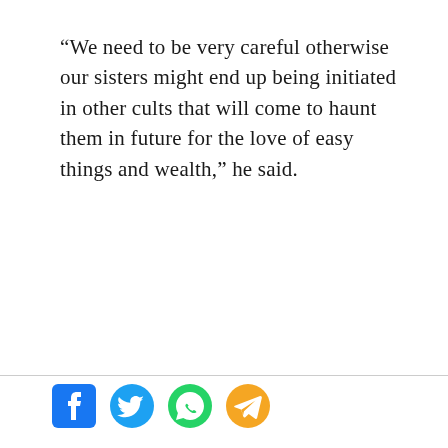“We need to be very careful otherwise our sisters might end up being initiated in other cults that will come to haunt them in future for the love of easy things and wealth,” he said.
[Figure (infographic): Social media sharing icons: Facebook (blue), Twitter (blue bird), WhatsApp (green), Telegram (orange)]